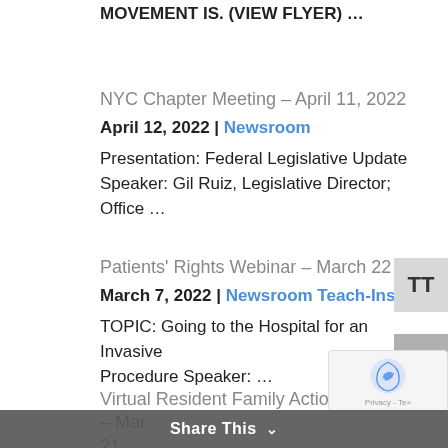MOVEMENT IS. (VIEW FLYER) ...
NYC Chapter Meeting – April 11, 2022
April 12, 2022 | Newsroom
Presentation: Federal Legislative Update Speaker: Gil Ruiz, Legislative Director; Office ...
Patients' Rights Webinar – March 22
March 7, 2022 | Newsroom Teach-Ins
TOPIC: Going to the Hospital for an Invasive Procedure Speaker: ...
Virtual Resident Family Action Council – Mar 21